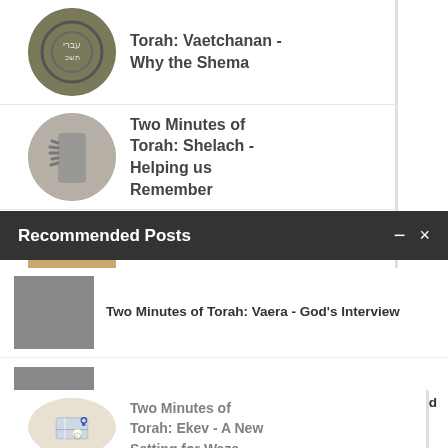Torah: Vaetchanan - Why the Shema
Two Minutes of Torah: Shelach - Helping us Remember
Really Meaning Never...
Recommended Posts
Two Minutes of Torah: Vaera - God's Interview
Two Minutes of Torah: Shemot - Reluctance to Lead
Two Minutes of Torah: Ekev - A New Setting for Waze